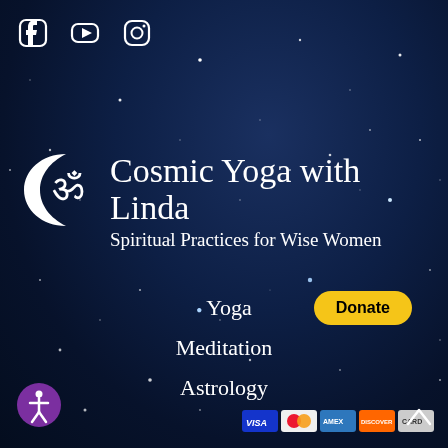[Figure (illustration): Night sky background with stars scattered across dark blue background]
[Figure (logo): Social media icons: Facebook, YouTube, Instagram in white at top left]
Cosmic Yoga with Linda
Spiritual Practices for Wise Women
[Figure (logo): Om symbol with crescent moon logo in white]
Yoga
Meditation
Astrology
[Figure (illustration): Donate button (yellow/gold pill shape) and payment card icons (Visa, Mastercard, American Express, Discover)]
[Figure (illustration): Accessibility icon button (purple circle with person symbol) and scroll-to-top arrow]